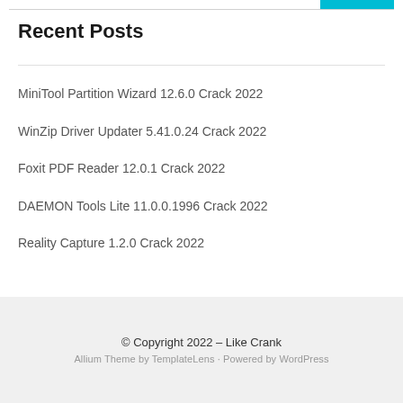Recent Posts
MiniTool Partition Wizard 12.6.0 Crack 2022
WinZip Driver Updater 5.41.0.24 Crack 2022
Foxit PDF Reader 12.0.1 Crack 2022
DAEMON Tools Lite 11.0.0.1996 Crack 2022
Reality Capture 1.2.0 Crack 2022
© Copyright 2022 – Like Crank
Allium Theme by TemplateLens · Powered by WordPress